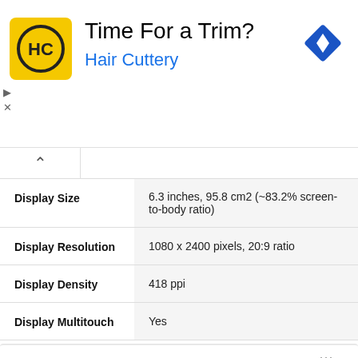[Figure (advertisement): Hair Cuttery ad banner with yellow logo showing HC letters, title 'Time For a Trim?', subtitle 'Hair Cuttery', and a blue navigation diamond icon on the right.]
| Property | Value |
| --- | --- |
| Display Size | 6.3 inches, 95.8 cm2 (~83.2% screen-to-body ratio) |
| Display Resolution | 1080 x 2400 pixels, 20:9 ratio |
| Display Density | 418 ppi |
| Display Multitouch | Yes |
Platform
| Property | Value |
| --- | --- |
| Operating System | Android |
| OS Version | 10.0 (Ten) |